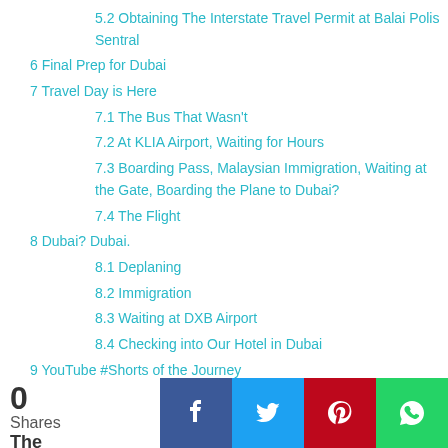5.2 Obtaining The Interstate Travel Permit at Balai Polis Sentral
6 Final Prep for Dubai
7 Travel Day is Here
7.1 The Bus That Wasn't
7.2 At KLIA Airport, Waiting for Hours
7.3 Boarding Pass, Malaysian Immigration, Waiting at the Gate, Boarding the Plane to Dubai?
7.4 The Flight
8 Dubai? Dubai.
8.1 Deplaning
8.2 Immigration
8.3 Waiting at DXB Airport
8.4 Checking into Our Hotel in Dubai
9 YouTube #Shorts of the Journey